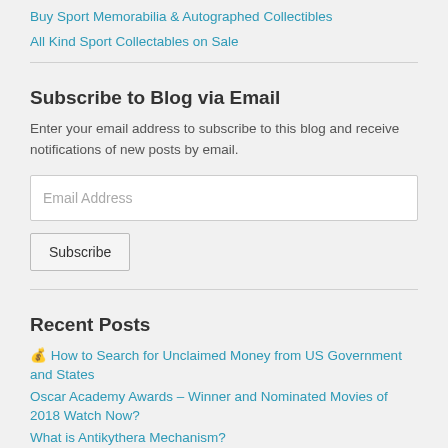Buy Sport Memorabilia & Autographed Collectibles
All Kind Sport Collectables on Sale
Subscribe to Blog via Email
Enter your email address to subscribe to this blog and receive notifications of new posts by email.
Recent Posts
💰 How to Search for Unclaimed Money from US Government and States
Oscar Academy Awards – Winner and Nominated Movies of 2018 Watch Now?
What is Antikythera Mechanism?
SUPER BOWL 51 – New England Patriots vs Atlanta Falcons
Inauguration Day Ceremony History and Schedule of Events
Helping Kids with Attention Deficit Disorder to Succeed #ADHD #ADD
12 Keys to the White House by Allan Lichtman